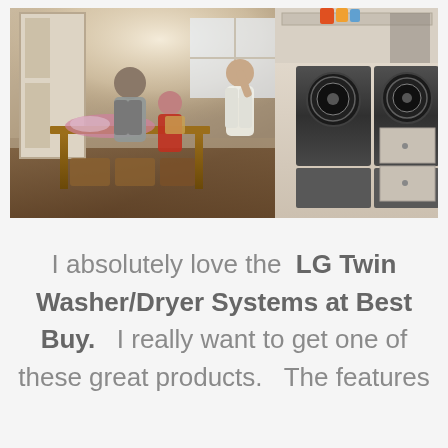[Figure (photo): A family in a laundry room setting. A man and a young boy in red sit at a wooden table sorting laundry. A woman stands nearby holding clothes. In the background are LG Twin Wash front-loading washer and dryer units in a white cabinetry laundry room with shelves holding detergent bottles.]
I absolutely love the LG Twin Washer/Dryer Systems at Best Buy.   I really want to get one of these great products.   The features